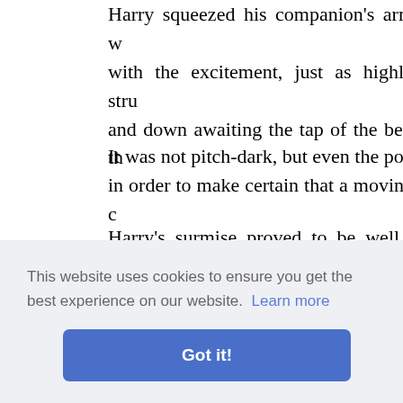Harry squeezed his companion's arm with the excitement, just as highly strung and down awaiting the tap of the bell th
It was not pitch-dark, but even the poss in order to make certain that a moving c
Harry's surmise proved to be well movement close to the large hangar. Y already busily engaged in doing some escadrille.
Closer the pair of watchers crept. They and Tom even believed he caught a g d that the
t Harry n leap; and
ng forwa thinking the Huns, on finding thems
This website uses cookies to ensure you get the best experience on our website. Learn more
Got it!